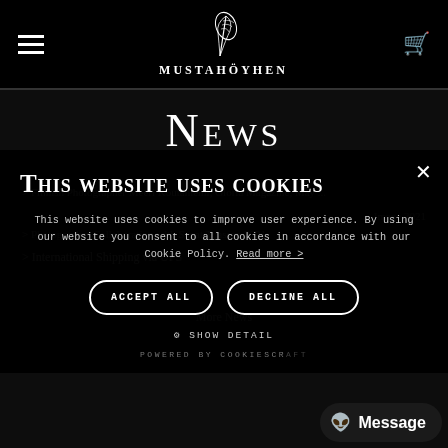MUSTAHÖYHEN
News
Finnish Photographer Meeri Koutaniemi, Gloria Magazine, May ...
... Image 2021
Photographer Collaboration with Sapat Tuassen 2021
International Shipping via UPS
More News
THIS WEBSITE USES COOKIES
This website uses cookies to improve user experience. By using our website you consent to all cookies in accordance with our Cookie Policy. Read more >
ACCEPT ALL    DECLINE ALL
SHOW DETAIL
POWERED BY COOKIESCRAFT
Message